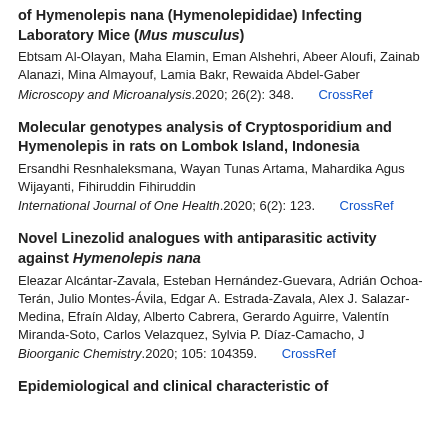of Hymenolepis nana (Hymenolepididae) Infecting Laboratory Mice (Mus musculus)
Ebtsam Al-Olayan, Maha Elamin, Eman Alshehri, Abeer Aloufi, Zainab Alanazi, Mina Almayouf, Lamia Bakr, Rewaida Abdel-Gaber
Microscopy and Microanalysis.2020; 26(2): 348.    CrossRef
Molecular genotypes analysis of Cryptosporidium and Hymenolepis in rats on Lombok Island, Indonesia
Ersandhi Resnhaleksmana, Wayan Tunas Artama, Mahardika Agus Wijayanti, Fihiruddin Fihiruddin
International Journal of One Health.2020; 6(2): 123.    CrossRef
Novel Linezolid analogues with antiparasitic activity against Hymenolepis nana
Eleazar Alcántar-Zavala, Esteban Hernández-Guevara, Adrián Ochoa-Terán, Julio Montes-Ávila, Edgar A. Estrada-Zavala, Alex J. Salazar-Medina, Efraín Alday, Alberto Cabrera, Gerardo Aguirre, Valentín Miranda-Soto, Carlos Velazquez, Sylvia P. Díaz-Camacho, J
Bioorganic Chemistry.2020; 105: 104359.    CrossRef
Epidemiological and clinical characteristic of